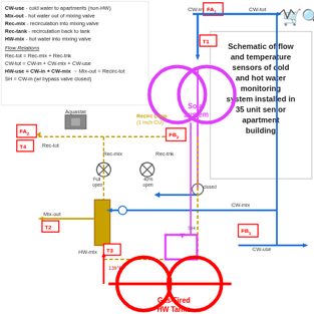[Figure (schematic): Schematic of flow and temperature sensors of cold and hot water monitoring system installed in 35 unit senior apartment building. Shows Solar System (pink circles), Gas-Fired HW Tanks (red circles), mixing valve (orange rectangle), Recirc Loop (1 inch CU, dashed gold line), blue cold water lines, pink hot water lines, red recirculation lines. Labels include FA1, FA2, FB1, FB2, T1, T2, T3, T4, Aquastat, CW-in, CW-tot, CW-mix, CW-use, Mix-out, Rec-tot, Rec-mix, Rec-tnk, HW-mix, SH, 139F. Legend shows flow variables and flow relations. Text box describes schematic purpose.]
CW-use - cold water to apartments (non-HW)
Mix-out - hot water out of mixing valve
Rec-mix - recirculation into mixing valve
Rec-tank - recirculation back to tank
HW-mix - hot water into mixing valve
Flow Relations
Rec-tot = Rec-mix + Rec-tnk
CW-tot = CW-in + CW-mix + CW-use
HW-use = CW-in + CW-mix → Mix-out = Recirc-tot
SH = CW-in (w/ bypass valve closed)
Schematic of flow and temperature sensors of cold and hot water monitoring system installed in 35 unit senior apartment building